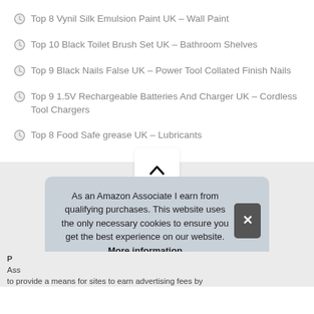Top 8 Vynil Silk Emulsion Paint UK – Wall Paint
Top 10 Black Toilet Brush Set UK – Bathroom Shelves
Top 9 Black Nails False UK – Power Tool Collated Finish Nails
Top 9 1.5V Rechargeable Batteries And Charger UK – Cordless Tool Chargers
Top 8 Food Safe grease UK – Lubricants
[Figure (other): Chevron/up arrow button (white rounded rectangle with up caret icon)]
As an Amazon Associate I earn from qualifying purchases. This website uses the only necessary cookies to ensure you get the best experience on our website. More information
P
Ass
to provide a means for sites to earn advertising fees by